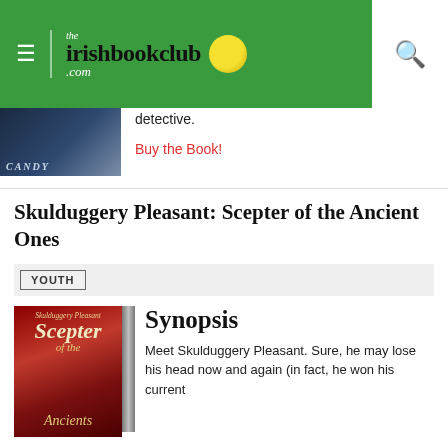the irishbookclub.com
[Figure (photo): Partial book cover showing 'CANDY' text on spine, dark blue/navy tones]
detective.
Buy the Book!
Skulduggery Pleasant: Scepter of the Ancient Ones
YOUTH
[Figure (photo): Book cover for Skulduggery Pleasant: Scepter of the Ancients, red background with stylized text]
Synopsis
Meet Skulduggery Pleasant. Sure, he may lose his head now and again (in fact, he won his current